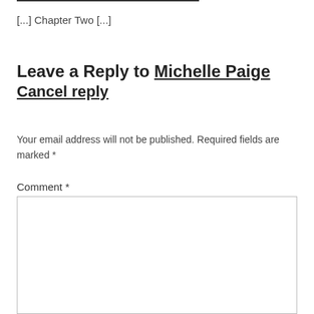[...] Chapter Two [...]
Leave a Reply to Michelle Paige Cancel reply
Your email address will not be published. Required fields are marked *
Comment *